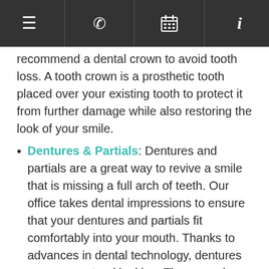Navigation bar with menu, phone, calendar, and info icons
recommend a dental crown to avoid tooth loss. A tooth crown is a prosthetic tooth placed over your existing tooth to protect it from further damage while also restoring the look of your smile.
Dentures & Partials: Dentures and partials are a great way to revive a smile that is missing a full arch of teeth. Our office takes dental impressions to ensure that your dentures and partials fit comfortably into your mouth. Thanks to advances in dental technology, dentures are more natural looking. They can also be secured with dental implants as a secure and durable solution.
MISSING TEETH FAQS